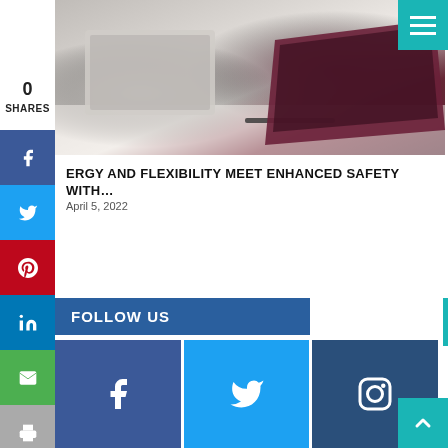[Figure (photo): Two laptops on a white desk — one silver/grey on the left, one dark burgundy/maroon on the right with a stylus pen in front]
0
SHARES
[Figure (infographic): Social sharing sidebar with buttons: Facebook (dark blue), Twitter (light blue), Pinterest (red), LinkedIn (blue), Email (green), Print (grey)]
ERGY AND FLEXIBILITY MEET ENHANCED SAFETY WITH...
April 5, 2022
FOLLOW US
[Figure (infographic): Three social media icon buttons side by side: Facebook (dark blue), Twitter (medium blue), Instagram (dark blue-grey)]
[Figure (infographic): Back to top arrow button in teal/cyan color at bottom right]